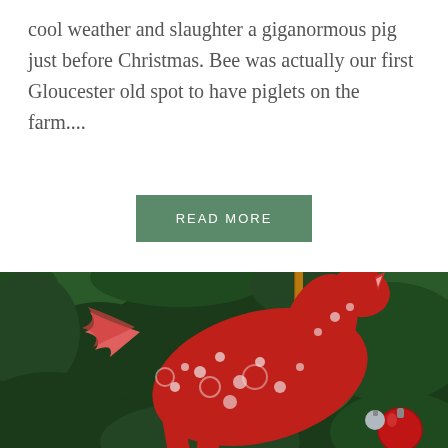cool weather and slaughter a giganormous pig just before Christmas. Bee was actually our first Gloucester old spot to have piglets on the farm....
READ MORE
[Figure (photo): A red ceramic or decorative horse ornament with white floral/dot pattern, hanging on an evergreen Christmas tree. Other ornaments visible including a blue and a red ball ornament.]